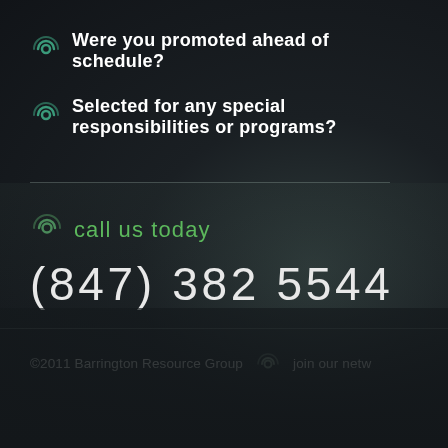Were you promoted ahead of schedule?
Selected for any special responsibilities or programs?
call us today
(847) 382 5544
©2011 Barrington Resource Group  join our netw...